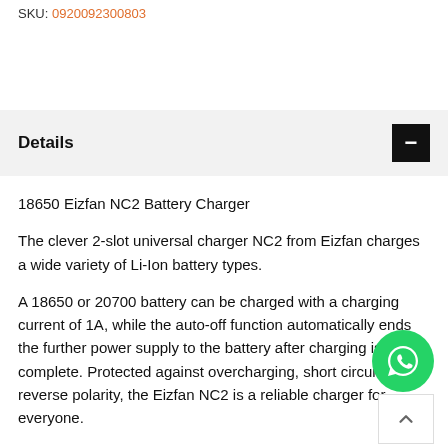SKU: 0920092300803
Details
18650 Eizfan NC2 Battery Charger
The clever 2-slot universal charger NC2 from Eizfan charges a wide variety of Li-Ion battery types.
A 18650 or 20700 battery can be charged with a charging current of 1A, while the auto-off function automatically ends the further power supply to the battery after charging is complete. Protected against overcharging, short circuits and reverse polarity, the Eizfan NC2 is a reliable charger for everyone.
A suitable power pack can be found in our shop, but the device can also be used via the USB port a...